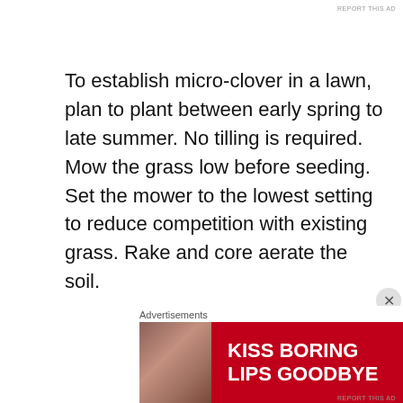REPORT THIS AD
To establish micro-clover in a lawn, plan to plant between early spring to late summer. No tilling is required. Mow the grass low before seeding. Set the mower to the lowest setting to reduce competition with existing grass. Rake and core aerate the soil.
Sow microclover seed by hand or use a broadcast spreader for a more even distribution in larger areas. Water the area every day for the first seven to 10 days because the soil needs to stay moist until the microclover has sprouted. White clover
[Figure (photo): Macy's advertisement banner: red background with woman's face, text 'KISS BORING LIPS GOODBYE' and 'SHOP NOW' button with Macy's star logo]
REPORT THIS AD